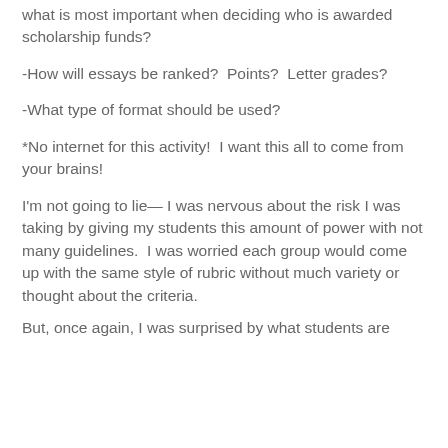what is most important when deciding who is awarded scholarship funds?
-How will essays be ranked?  Points?  Letter grades?
-What type of format should be used?
*No internet for this activity!  I want this all to come from your brains!
I'm not going to lie— I was nervous about the risk I was taking by giving my students this amount of power with not many guidelines.  I was worried each group would come up with the same style of rubric without much variety or thought about the criteria.
But, once again, I was surprised by what students are